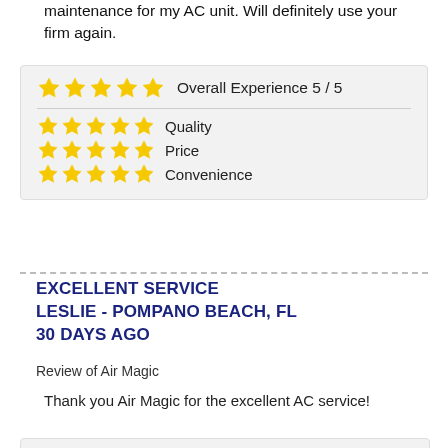maintenance for my AC unit. Will definitely use your firm again.
| Rating Category | Score |
| --- | --- |
| Overall Experience | 5 / 5 |
| Quality | ★★★★★ |
| Price | ★★★★★ |
| Convenience | ★★★★★ |
EXCELLENT SERVICE
LESLIE - POMPANO BEACH, FL
30 DAYS AGO
Review of Air Magic
Thank you Air Magic for the excellent AC service!